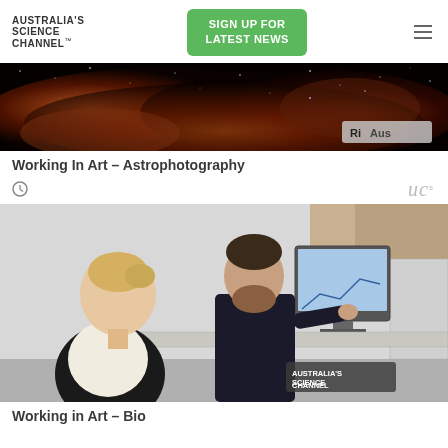Australia's Science Channel™
[Figure (screenshot): Australia's Science Channel website header with logo, SIGN UP FOR LATEST NEWS green button, and hamburger menu]
[Figure (photo): Nebula astrophotography image with Ri Aus watermark in bottom right]
Working In Art – Astrophotography
[Figure (photo): Two scientists in a laboratory examining data on a computer monitor with microscope equipment. Australia's Science Channel watermark in bottom right.]
Working in Art – Biotechnology Conservation